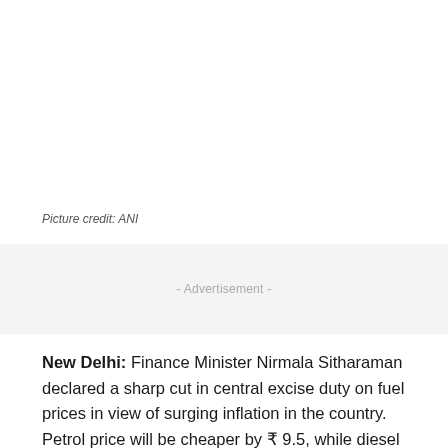[Figure (photo): Blank white image area (photo placeholder)]
Picture credit: ANI
- Advertisement -
New Delhi: Finance Minister Nirmala Sitharaman declared a sharp cut in central excise duty on fuel prices in view of surging inflation in the country. Petrol price will be cheaper by ₹ 9.5, while diesel will come down by ₹ 7.